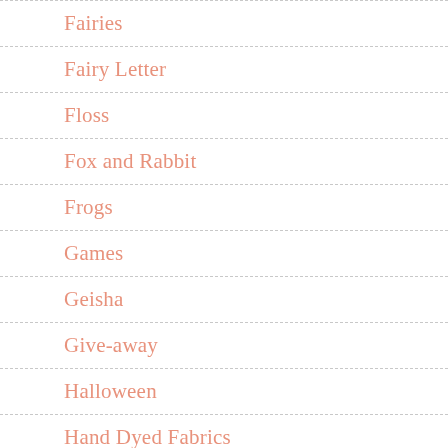Fairies
Fairy Letter
Floss
Fox and Rabbit
Frogs
Games
Geisha
Give-away
Halloween
Hand Dyed Fabrics